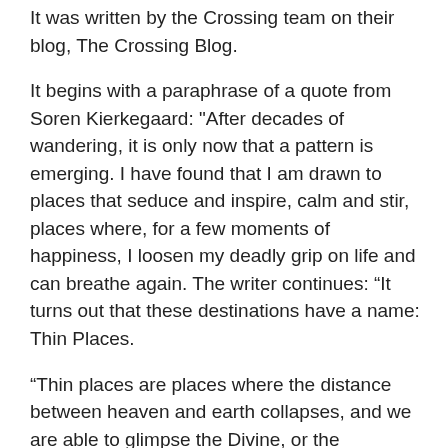It was written by the Crossing team on their blog, The Crossing Blog.
It begins with a paraphrase of a quote from Soren Kierkegaard: "After decades of wandering, it is only now that a pattern is emerging. I have found that I am drawn to places that seduce and inspire, calm and stir, places where, for a few moments of happiness, I loosen my deadly grip on life and can breathe again. The writer continues: “It turns out that these destinations have a name: Thin Places.
“Thin places are places where the distance between heaven and earth collapses, and we are able to glimpse the Divine, or the Transcendent – or, as I like to think, the Infinite.” Thin Places are places on earth that allow people to experience God’s presence in a real and tangible way. Mystics believed this and there is a place in Israel where Jews who believe in Kabbalah and study the Zohar go to experience the “thinness” of the world. This is the grave of Rabbi Shimon bar Yochai, the Rashbi as he is called, where he is believed to be buried. The Rashbi are believed to be